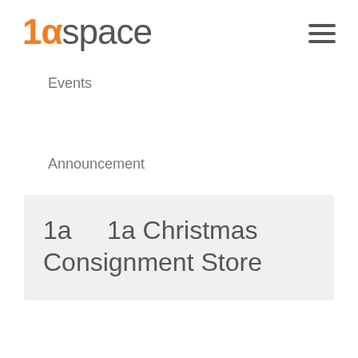[Figure (logo): 1alpha space logo with orange '1a' and dark grey 'space' text]
Events
Announcement
1a    1a Christmas Consignment Store